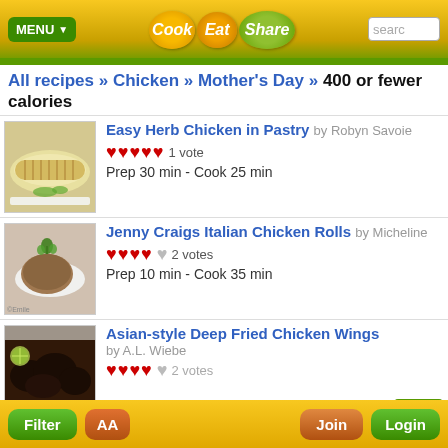MENU | Cook Eat Share | search
All recipes » Chicken » Mother's Day » 400 or fewer calories
Easy Herb Chicken in Pastry by Robyn Savoie — ♥♥♥♥♥ 1 vote — Prep 30 min - Cook 25 min
Jenny Craigs Italian Chicken Rolls by Micheline — ♥♥♥♥♥ 2 votes — Prep 10 min - Cook 35 min
Asian-style Deep Fried Chicken Wings by A.L. Wiebe — ♥♥♥♥ 2 votes
Filter | AA | Join | Login | HIDE